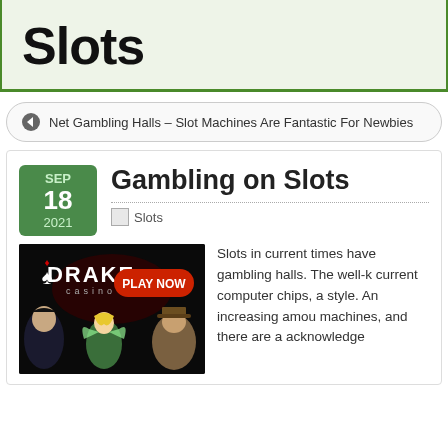Slots
Net Gambling Halls – Slot Machines Are Fantastic For Newbies
Gambling on Slots
Slots
[Figure (photo): Drake Casino advertisement banner with animated characters including a vampire, fairy, and Indiana Jones-style adventurer, with 'PLAY NOW' button]
Slots in current times have gambling halls. The well-k current computer chips, a style. An increasing amou machines, and there are a acknowledge